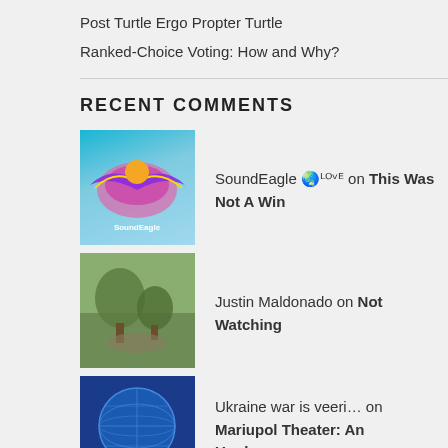Post Turtle Ergo Propter Turtle
Ranked-Choice Voting: How and Why?
RECENT COMMENTS
SoundEagle 🌏ᴸᴼᴠᴱ on This Was Not A Win
Justin Maldonado on Not Watching
Ukraine war is veeri… on Mariupol Theater: An Unpleasan…
Gnerphk on It's Trump, God Help Us
Mike Dobson on It's Trump, God Help Us